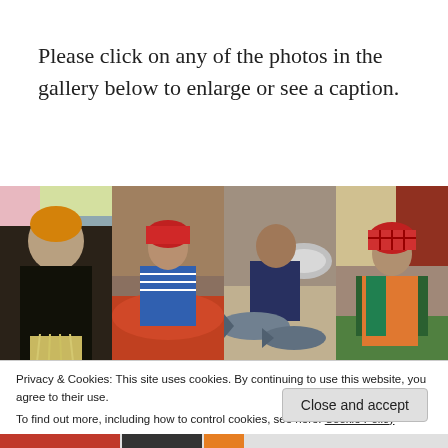Please click on any of the photos in the gallery below to enlarge or see a caption.
[Figure (photo): A gallery strip of four photos showing people at a market: 1) A woman in a black outfit and orange headwrap holding straw/grass. 2) A young girl in a blue striped shirt and red headwrap sitting at a market stall with spices. 3) A boy in a navy shirt with fish laid out in front of him and metal bowls. 4) A girl in an orange jacket and red plaid hat sitting with greens.]
Privacy & Cookies: This site uses cookies. By continuing to use this website, you agree to their use.
To find out more, including how to control cookies, see here: Cookie Policy
Close and accept